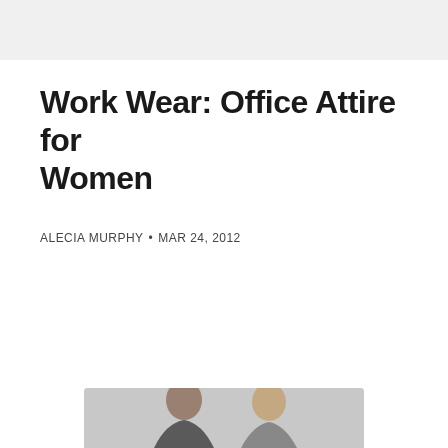Work Wear: Office Attire for Women
ALECIA MURPHY • MAR 24, 2012
[Figure (photo): Bottom of page showing partial photograph of women in office attire, cropped at bottom edge]